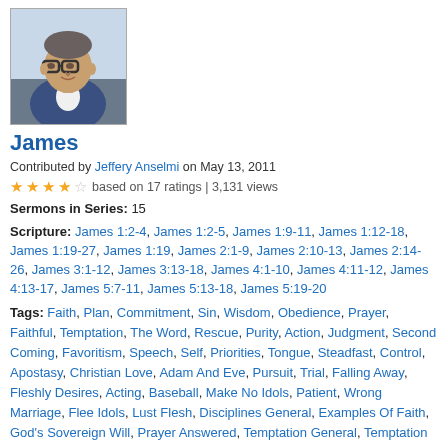[Figure (photo): Headshot of a middle-aged man with glasses wearing a blue blazer, seated in a car]
James
Contributed by Jeffery Anselmi on May 13, 2011
★★★★☆ based on 17 ratings | 3,131 views
Sermons in Series: 15
Scripture: James 1:2-4, James 1:2-5, James 1:9-11, James 1:12-18, James 1:19-27, James 1:19, James 2:1-9, James 2:10-13, James 2:14-26, James 3:1-12, James 3:13-18, James 4:1-10, James 4:11-12, James 4:13-17, James 5:7-11, James 5:13-18, James 5:19-20
Tags: Faith, Plan, Commitment, Sin, Wisdom, Obedience, Prayer, Faithful, Temptation, The Word, Rescue, Purity, Action, Judgment, Second Coming, Favoritism, Speech, Self, Priorities, Tongue, Steadfast, Control, Apostasy, Christian Love, Adam And Eve, Pursuit, Trial, Falling Away, Fleshly Desires, Acting, Baseball, Make No Idols, Patient, Wrong Marriage, Flee Idols, Lust Flesh, Disciplines General, Examples Of Faith, God's Sovereign Will, Prayer Answered, Temptation General, Temptation Power, Trials And Difficulties, Evil Of Idols, False Idols